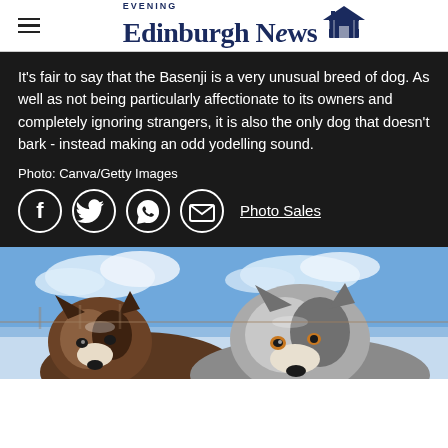Edinburgh Evening News
It's fair to say that the Basenji is a very unusual breed of dog. As well as not being particularly affectionate to its owners and completely ignoring strangers, it is also the only dog that doesn't bark - instead making an odd yodelling sound.
Photo: Canva/Getty Images
[Figure (other): Social sharing icons: Facebook, Twitter, WhatsApp, Email, and Photo Sales link]
[Figure (photo): Two Husky or Alaskan Malamute dogs photographed outdoors in a snowy winter landscape with blue sky and clouds in background]